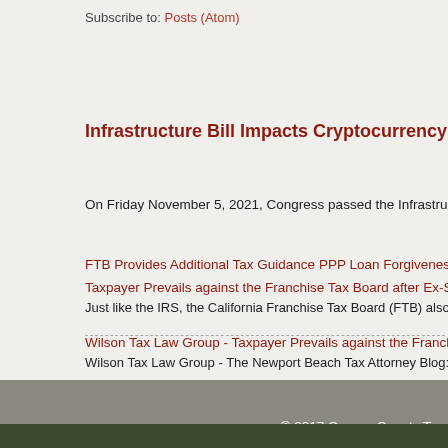Subscribe to: Posts (Atom)
Infrastructure Bill Impacts Cryptocurrency Reporting La…
On Friday November 5, 2021, Congress passed the Infrastructure Inv…
Taxpayer Prevails against the Franchise Tax Board after Ex-Spouse A…
Just like the IRS, the California Franchise Tax Board (FTB) also has a…
Wilson Tax Law Group - Taxpayer Prevails against the Franchise Tax…
Wilson Tax Law Group - The Newport Beach Tax Attorney Blog: Taxpa…
FTB Provides Additional Tax Guidance PPP Loan Forgiveness
On June 2, 2021, the California Franchise Tax Board (FTB) issued mu…
© 2017 Orange County Tax…